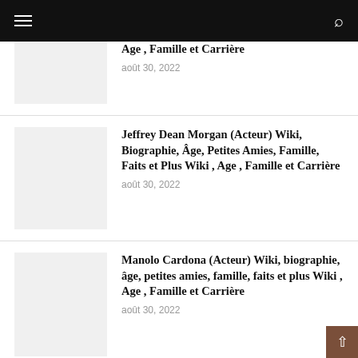Navigation header with menu and search icons
Age , Famille et Carrière
août 30, 2022
Jeffrey Dean Morgan (Acteur) Wiki, Biographie, Âge, Petites Amies, Famille, Faits et Plus Wiki , Age , Famille et Carrière
août 30, 2022
Manolo Cardona (Acteur) Wiki, biographie, âge, petites amies, famille, faits et plus Wiki , Age , Famille et Carrière
août 30, 2022